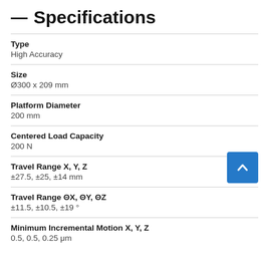— Specifications
Type
High Accuracy
Size
Ø300 x 209 mm
Platform Diameter
200 mm
Centered Load Capacity
200 N
Travel Range X, Y, Z
±27.5, ±25, ±14 mm
Travel Range ΘX, ΘY, ΘZ
±11.5, ±10.5, ±19 °
Minimum Incremental Motion X, Y, Z
0.5, 0.5, 0.25 μm